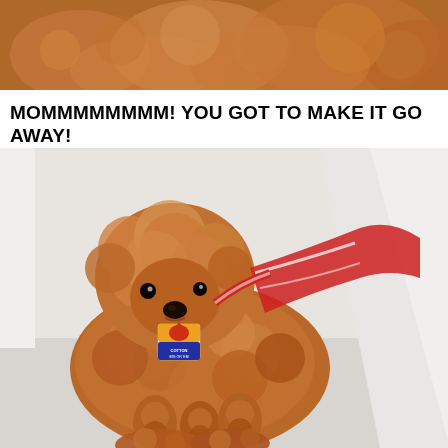[Figure (photo): Top portion of a brown/auburn toy poodle with curly fur, cropped showing mainly the back/top of the dog against a light background]
MOMMMMMMMM! YOU GOT TO MAKE IT GO AWAY!
[Figure (photo): A brown/auburn toy poodle wearing a red harness, with a Chick-fil-A sticker attached to its chest fur, looking at the camera with a pleading expression. The dog is standing near a white wall or door.]